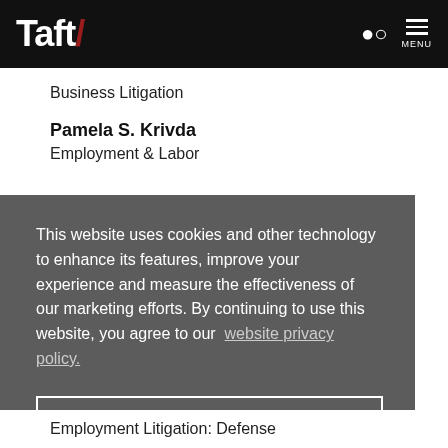Taft/ [search] MENU
Business Litigation
Pamela S. Krivda
Employment & Labor
This website uses cookies and other technology to enhance its features, improve your experience and measure the effectiveness of our marketing efforts. By continuing to use this website, you agree to our website privacy policy.
Accept
Employment Litigation: Defense